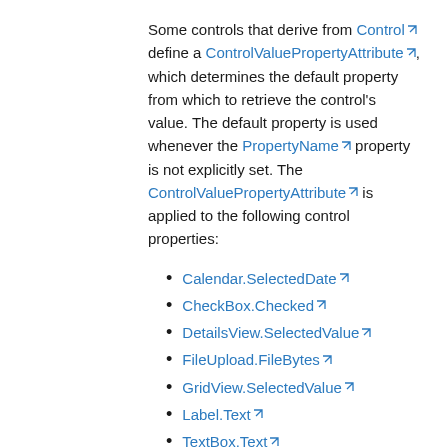Some controls that derive from Control define a ControlValuePropertyAttribute, which determines the default property from which to retrieve the control's value. The default property is used whenever the PropertyName property is not explicitly set. The ControlValuePropertyAttribute is applied to the following control properties:
Calendar.SelectedDate
CheckBox.Checked
DetailsView.SelectedValue
FileUpload.FileBytes
GridView.SelectedValue
Label.Text
TextBox.Text
TreeView.SelectedValue